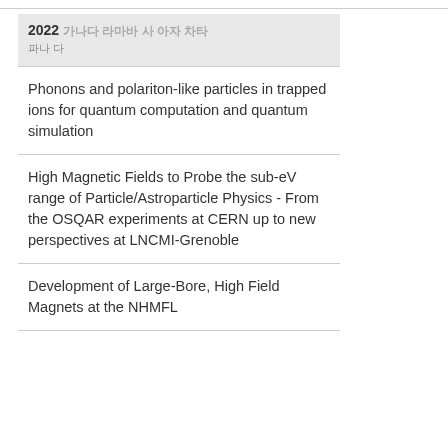2022 [Korean characters] [Korean characters]
Phonons and polariton-like particles in trapped ions for quantum computation and quantum simulation
High Magnetic Fields to Probe the sub-eV range of Particle/Astroparticle Physics - From the OSQAR experiments at CERN up to new perspectives at LNCMI-Grenoble
Development of Large-Bore, High Field Magnets at the NHMFL